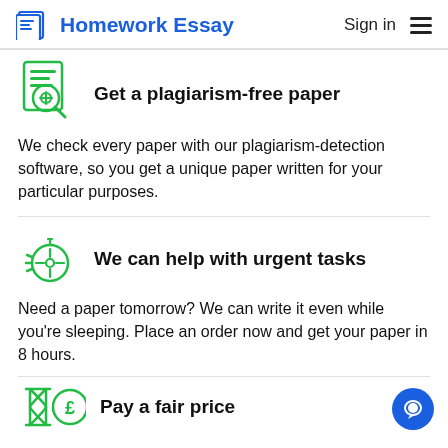Homework Essay  Sign in
Get a plagiarism-free paper
We check every paper with our plagiarism-detection software, so you get a unique paper written for your particular purposes.
We can help with urgent tasks
Need a paper tomorrow? We can write it even while you're sleeping. Place an order now and get your paper in 8 hours.
Pay a fair price